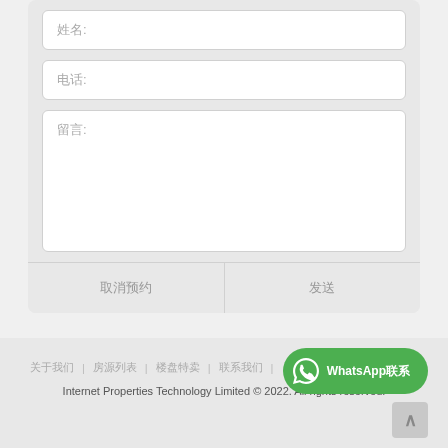姓名:
电话:
留言:
取消预约
发送
关于我们 | 房源列表 | 楼盘特卖 | 联系我们 | WhatsApp联系
Internet Properties Technology Limited © 2022. All rights reserved.